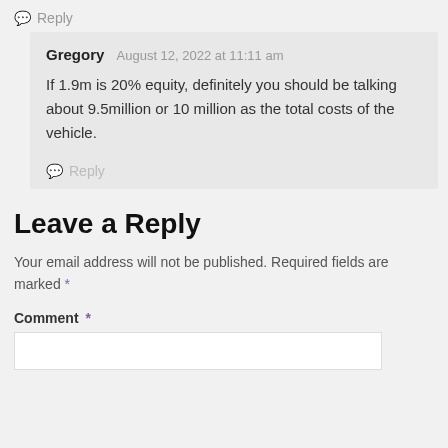Reply
Gregory  August 12, 2022 at 11:11 am
If 1.9m is 20% equity, definitely you should be talking about 9.5million or 10 million as the total costs of the vehicle.
Reply
Leave a Reply
Your email address will not be published. Required fields are marked *
Comment *